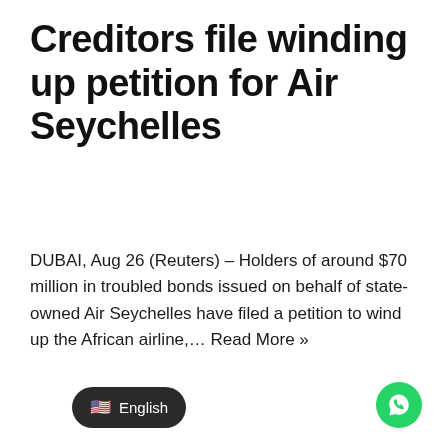Creditors file winding up petition for Air Seychelles
DUBAI, Aug 26 (Reuters) – Holders of around $70 million in troubled bonds issued on behalf of state-owned Air Seychelles have filed a petition to wind up the African airline,… Read More »